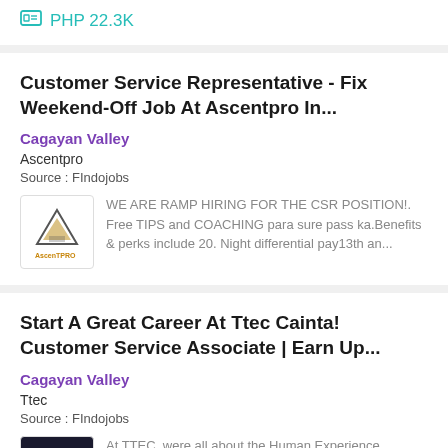PHP 22.3K
Customer Service Representative - Fix Weekend-Off Job At Ascentpro In...
Cagayan Valley
Ascentpro
Source : FIndojobs
WE ARE RAMP HIRING FOR THE CSR POSITION!. Free TIPS and COACHING para sure pass ka.Benefits & perks include 20. Night differential pay13th an...
Start A Great Career At Ttec Cainta! Customer Service Associate | Earn Up...
Cagayan Valley
Ttec
Source : FIndojobs
At TTEC, were all about the Human Experience.